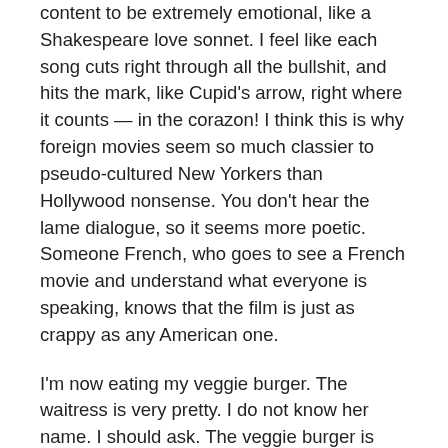content to be extremely emotional, like a Shakespeare love sonnet. I feel like each song cuts right through all the bullshit, and hits the mark, like Cupid's arrow, right where it counts — in the corazon! I think this is why foreign movies seem so much classier to pseudo-cultured New Yorkers than Hollywood nonsense. You don't hear the lame dialogue, so it seems more poetic. Someone French, who goes to see a French movie and understand what everyone is speaking, knows that the film is just as crappy as any American one.
I'm now eating my veggie burger. The waitress is very pretty. I do not know her name. I should ask. The veggie burger is homemade, not frozen. I like that. The one thing I don't like about the veggie burger is the bun. When I pile the lettuce and tomato and ketchup on top of the veggie burger (the lettuce and tomato come with the Deluxe!), the weak bun cannot withstand the pressure because of some structural deficiency, and the bottom half falls out of the bun like it is being shed.